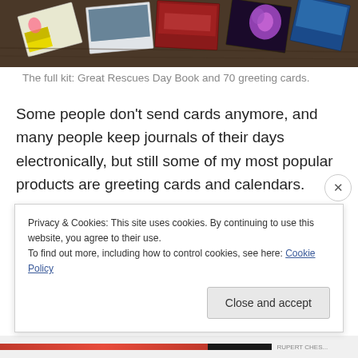[Figure (photo): Photo of greeting cards and a day book spread out on a wooden table surface]
The full kit: Great Rescues Day Book and 70 greeting cards.
Some people don't send cards anymore, and many people keep journals of their days electronically, but still some of my most popular products are greeting cards and calendars.
This is a gift package that can last all year long—and
Privacy & Cookies: This site uses cookies. By continuing to use this website, you agree to their use.
To find out more, including how to control cookies, see here: Cookie Policy